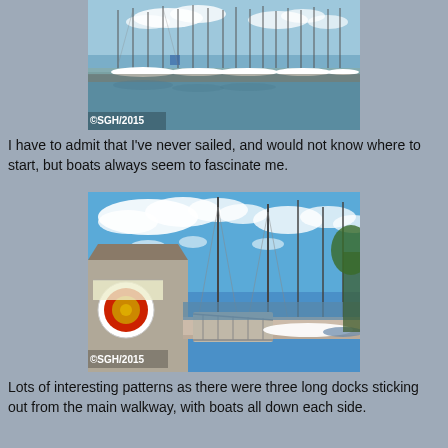[Figure (photo): Photograph of a marina with many sailboats moored in calm water, taken from a dock. Copyright watermark ©SGH/2015 in bottom-left corner.]
I have to admit that I've never sailed, and would not know where to start, but boats always seem to fascinate me.
[Figure (photo): Photograph of a marina dock area with tall sailboat masts against a blue sky with white clouds, a circular orange and yellow sign visible on a shed at left. Copyright watermark ©SGH/2015 in bottom-left corner.]
Lots of interesting patterns as there were three long docks sticking out from the main walkway, with boats all down each side.